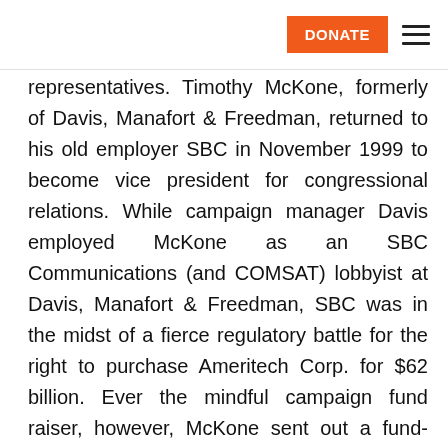DONATE [navigation menu]
representatives. Timothy McKone, formerly of Davis, Manafort & Freedman, returned to his old employer SBC in November 1999 to become vice president for congressional relations. While campaign manager Davis employed McKone as an SBC Communications (and COMSAT) lobbyist at Davis, Manafort & Freedman, SBC was in the midst of a fierce regulatory battle for the right to purchase Ameritech Corp. for $62 billion. Ever the mindful campaign fund raiser, however, McKone sent out a fund-raising solicitation for McCain's presidential campaign on May 11, 1999, proclaiming that, “John McCain has become a